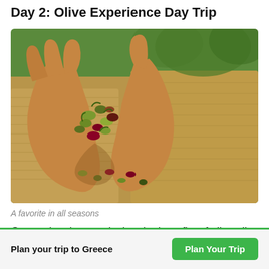Day 2: Olive Experience Day Trip
[Figure (photo): Hands holding a pile of green and purple/black olives with leaves, over burlap sacks filled with harvested olives, with olive trees visible in the blurred background]
A favorite in all seasons
Greece has been enjoying the benefits of olive oil for
Plan your trip to Greece
Plan Your Trip